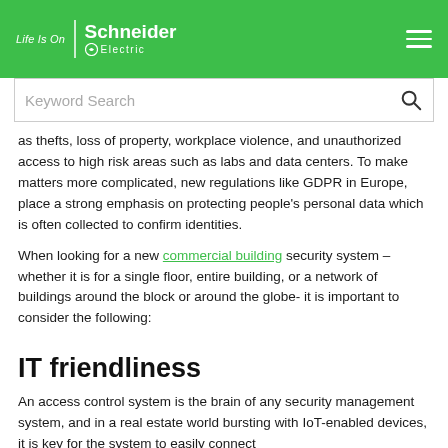Life Is On | Schneider Electric
Keyword Search
as thefts, loss of property, workplace violence, and unauthorized access to high risk areas such as labs and data centers. To make matters more complicated, new regulations like GDPR in Europe, place a strong emphasis on protecting people's personal data which is often collected to confirm identities.
When looking for a new commercial building security system – whether it is for a single floor, entire building, or a network of buildings around the block or around the globe- it is important to consider the following:
IT friendliness
An access control system is the brain of any security management system, and in a real estate world bursting with IoT-enabled devices, it is key for the system to easily connect